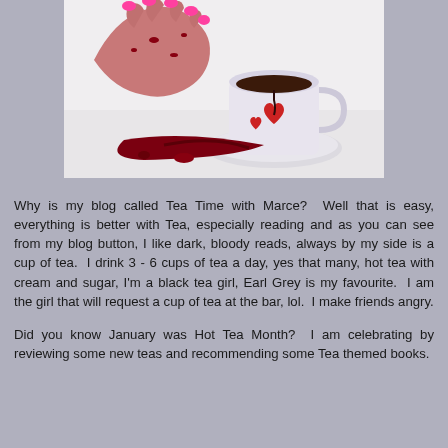[Figure (photo): A hand with pink painted nails, covered in dark red liquid resembling blood, reaching toward a white teacup with red heart designs on a saucer. Dark red liquid is spilled on the white surface below.]
Why is my blog called Tea Time with Marce?  Well that is easy, everything is better with Tea, especially reading and as you can see from my blog button, I like dark, bloody reads, always by my side is a cup of tea.  I drink 3 - 6 cups of tea a day, yes that many, hot tea with cream and sugar, I'm a black tea girl, Earl Grey is my favourite.  I am the girl that will request a cup of tea at the bar, lol.  I make friends angry.
Did you know January was Hot Tea Month?  I am celebrating by reviewing some new teas and recommending some Tea themed books.